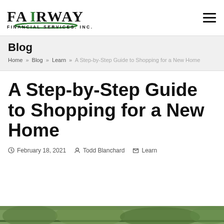[Figure (logo): Fairway Financial Services, Inc. logo with stylized text and green underline]
Blog
Home » Blog » Learn » A Step-by-Step Guide to Shopping for a New Home
A Step-by-Step Guide to Shopping for a New Home
February 18, 2021  Todd Blanchard  Learn
[Figure (photo): Partial view of a home exterior photo at the bottom of the page]